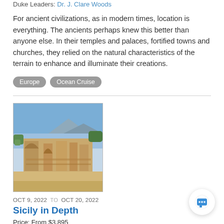Duke Leaders: Dr. J. Clare Woods
For ancient civilizations, as in modern times, location is everything. The ancients perhaps knew this better than anyone else. In their temples and palaces, fortified towns and churches, they relied on the natural characteristics of the terrain to enhance and illuminate their creations.
Europe
Ocean Cruise
[Figure (photo): Ancient Greek or Roman ruins (likely the Greek Theatre of Taormina in Sicily) with stone columns and arches, blue sky and mountains/sea in background]
OCT 9, 2022 TO OCT 20, 2022
Sicily in Depth
Price: From $3,895
Duke Leaders: Dr. Valeria Finucci